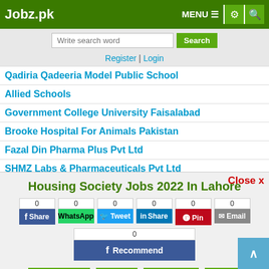Jobz.pk
Write search word | Search
Register | Login
Qadiria Qadeeria Model Public School
Allied Schools
Government College University Faisalabad
Brooke Hospital For Animals Pakistan
Fazal Din Pharma Plus Pvt Ltd
SHMZ Labs & Pharmaceuticals Pvt Ltd
Peshawar Degree College of Commerce & Sciences
Pharma Company
Housing Society Jobs 2022 In Lahore
Share buttons: Facebook Share (0), WhatsApp (0), Tweet (0), LinkedIn Share (0), Pinterest Pin (0), Email (0), Facebook Recommend (0)
Job Closed | Save | Comment | Print